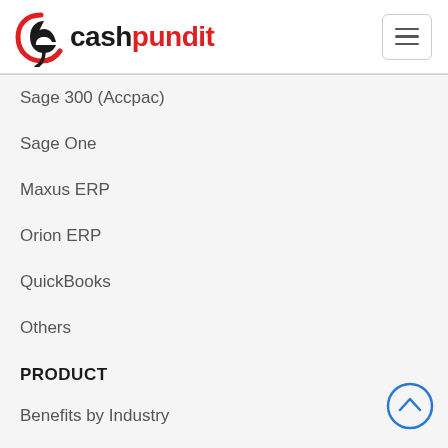cashpundit
Sage 300 (Accpac)
Sage One
Maxus ERP
Orion ERP
QuickBooks
Others
PRODUCT
Benefits by Industry
Benefits by Role
Pricing
Partner Program